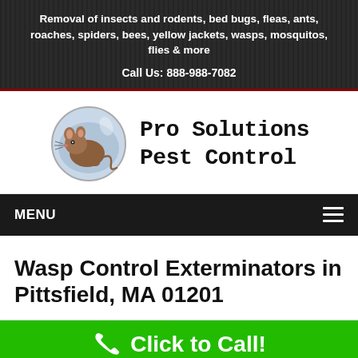Removal of insects and rodents, bed bugs, fleas, ants, roaches, spiders, bees, yellow jackets, wasps, mosquitos, flies & more
Call Us: 888-988-7082
[Figure (logo): Pro Solutions Pest Control logo with illustrated mouse in a glass bowl]
Pro Solutions Pest Control
MENU
Wasp Control Exterminators in Pittsfield, MA 01201
Click to Call!